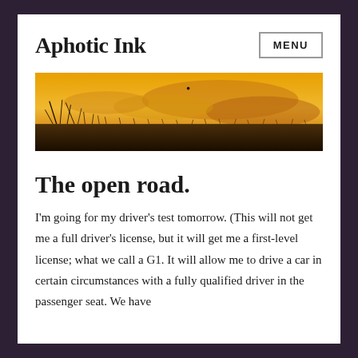Aphotic Ink
[Figure (photo): A panoramic landscape photo showing silhouetted grass/reeds against a vivid golden-orange sunset sky with dramatic clouds]
The open road.
I'm going for my driver's test tomorrow. (This will not get me a full driver's license, but it will get me a first-level license; what we call a G1. It will allow me to drive a car in certain circumstances with a fully qualified driver in the passenger seat. We have